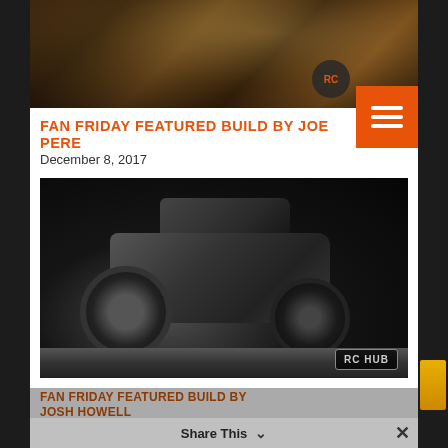[Figure (photo): Top banner photo showing close-up of rocky or muddy terrain in warm brown tones with RC Hub logo badge]
FAN FRIDAY FEATURED BUILD BY JOE PERE...
December 8, 2017
[Figure (photo): Black and white photograph of an RC monster truck (Ford-style) with large tires on a gravel surface, with RC HUB watermark badge in corner]
FAN FRIDAY FEATURED BUILD BY JOSH HOWELL
Share This